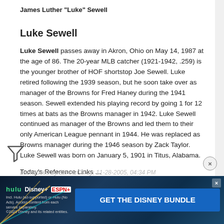James Luther "Luke" Sewell
Luke Sewell
Luke Sewell passes away in Akron, Ohio on May 14, 1987 at the age of 86. The 20-year MLB catcher (1921-1942, .259) is the younger brother of HOF shortstop Joe Sewell. Luke retired following the 1939 season, but he soon take over as manager of the Browns for Fred Haney during the 1941 season. Sewell extended his playing record by going 1 for 12 times at bats as the Browns manager in 1942. Luke Sewell continued as manager of the Browns and led them to their only American League pennant in 1944. He was replaced as Browns manager during the 1946 season by Zack Taylor. Luke Sewell was born on January 5, 1901 in Titus, Alabama.
Today's Reference Links ...
http://www.baseballlibrary.com/baseb...logy/today.stm
http://www.baseball-almanac.com/
Last edited by Bill McCurdy; 11-28-2005, 04:34 PM
[Figure (screenshot): Advertisement banner for The Disney Bundle featuring Hulu, Disney+, and ESPN+ logos with a blue CTA button saying GET THE DISNEY BUNDLE]